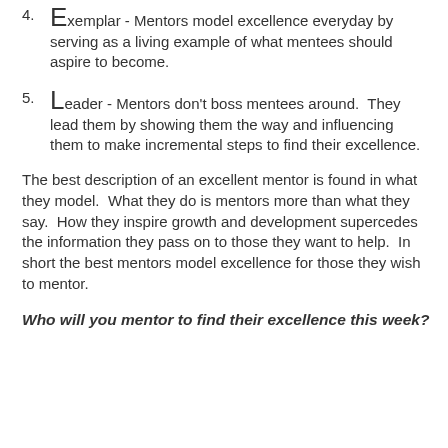4. Exemplar - Mentors model excellence everyday by serving as a living example of what mentees should aspire to become.
5. Leader - Mentors don't boss mentees around. They lead them by showing them the way and influencing them to make incremental steps to find their excellence.
The best description of an excellent mentor is found in what they model. What they do is mentors more than what they say. How they inspire growth and development supercedes the information they pass on to those they want to help. In short the best mentors model excellence for those they wish to mentor.
Who will you mentor to find their excellence this week?